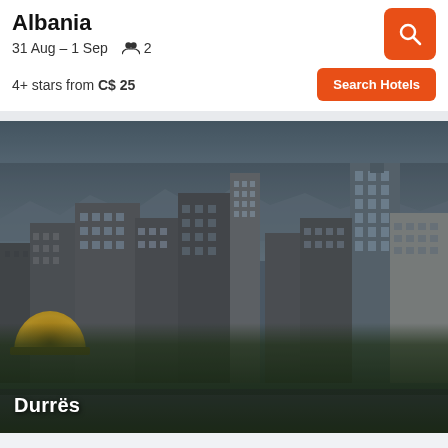Albania
31 Aug – 1 Sep    👥 2
4+ stars from C$ 25
[Figure (photo): Aerial cityscape view of Durrës, Albania, showing densely packed multi-storey buildings, a golden dome of a mosque in the lower left, trees, and a tall modern tower on the right. Hazy mountains visible in the background.]
Durrës